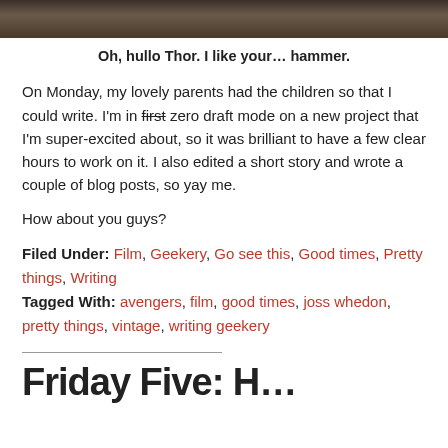[Figure (photo): Dark photograph strip at top of page, appears to show rocks or a movie scene]
Oh, hullo Thor. I like your… hammer.
On Monday, my lovely parents had the children so that I could write. I'm in first zero draft mode on a new project that I'm super-excited about, so it was brilliant to have a few clear hours to work on it. I also edited a short story and wrote a couple of blog posts, so yay me.
How about you guys?
Filed Under: Film, Geekery, Go see this, Good times, Pretty things, Writing
Tagged With: avengers, film, good times, joss whedon, pretty things, vintage, writing geekery
Friday Five: H…